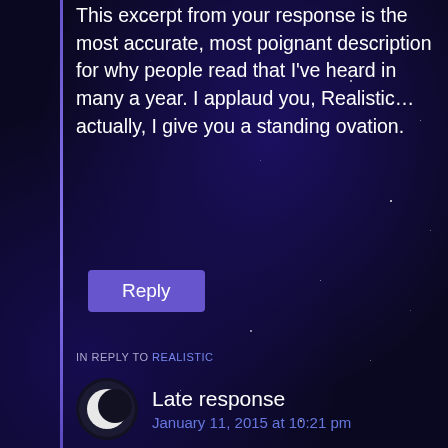This excerpt from your response is the most accurate, most poignant description for why people read that I've heard in many a year. I applaud you, Realistic...actually, I give you a standing ovation.
Reply
IN REPLY TO REALISTIC
Late response
January 11, 2015 at 10:21 pm
I'm late in the game here but I just wanted to say that Realistic's response was excellent, I could not have put any of that better myself.